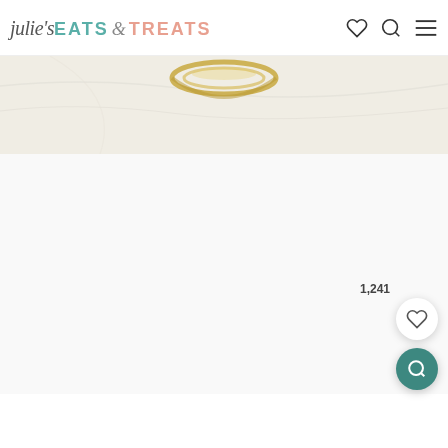julie's EATS & TREATS
[Figure (photo): Top portion of a food photo showing a golden/yellow bowl or dish on a white marble surface, partially cropped at top of page]
[Figure (photo): Main content area below the food photo strip — large white/light gray area, mostly blank, representing the body of a recipe blog page]
1,241